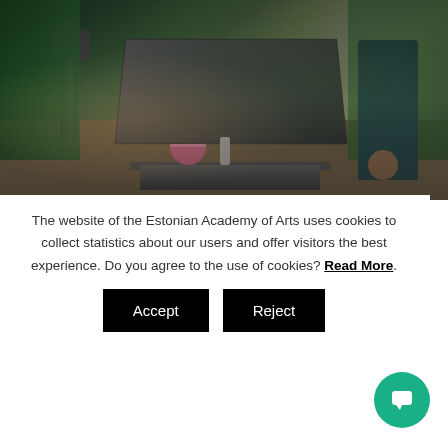[Figure (photo): Industrial workshop scene with metal fabrication equipment, a metal table/workbench, hydraulic machinery, a pink bowl on the floor, and people working in a studio with green walls.]
" at EKA
the exhibition: nic-dimension-
The website of the Estonian Academy of Arts uses cookies to collect statistics about our users and offer visitors the best experience. Do you agree to the use of cookies? Read More.
Accept
Reject